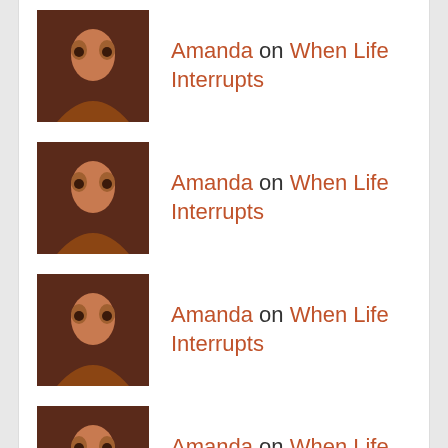Amanda on When Life Interrupts
Amanda on When Life Interrupts
Amanda on When Life Interrupts
Amanda on When Life Interrupts
Amanda on When Life Interrupts
BLOGROLL
According to Hoyt
Alma Boykin
Amanda S. Green